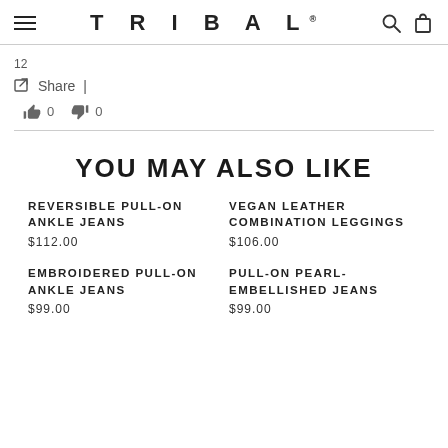TRIBAL
12
Share |
0  0
YOU MAY ALSO LIKE
REVERSIBLE PULL-ON ANKLE JEANS
$112.00
VEGAN LEATHER COMBINATION LEGGINGS
$106.00
EMBROIDERED PULL-ON ANKLE JEANS
$99.00
PULL-ON PEARL-EMBELLISHED JEANS
$99.00